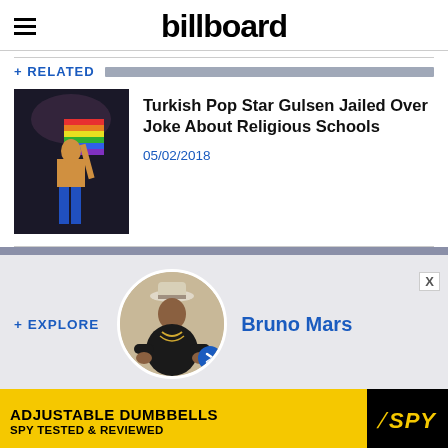billboard
+ RELATED
[Figure (photo): Photo of Turkish pop star Gulsen performing on stage holding a rainbow flag, wearing blue pants]
Turkish Pop Star Gulsen Jailed Over Joke About Religious Schools
05/02/2018
+ EXPLORE
[Figure (photo): Circular portrait photo of Bruno Mars sitting, wearing dark clothing and jewelry]
Bruno Mars
[Figure (photo): Advertisement banner: ADJUSTABLE DUMBBELLS SPY TESTED & REVIEWED - SPY logo]